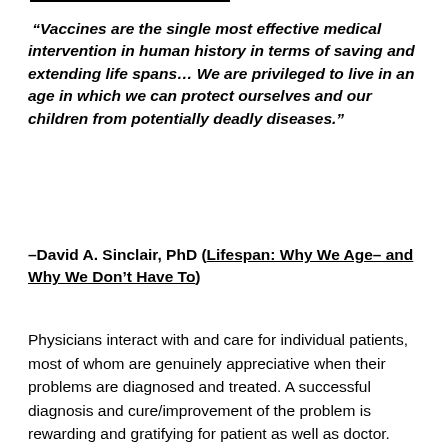“Vaccines are the single most effective medical intervention in human history in terms of saving and extending life spans… We are privileged to live in an age in which we can protect ourselves and our children from potentially deadly diseases.”
–David A. Sinclair, PhD (Lifespan: Why We Age– and Why We Don’t Have To)
Physicians interact with and care for individual patients, most of whom are genuinely appreciative when their problems are diagnosed and treated. A successful diagnosis and cure/improvement of the problem is rewarding and gratifying for patient as well as doctor.